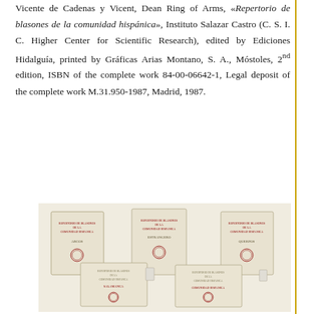Vicente de Cadenas y Vicent, Dean Ring of Arms, «Repertorio de blasones de la comunidad hispánica», Instituto Salazar Castro (C. S. I. C. Higher Center for Scientific Research), edited by Ediciones Hidalguía, printed by Gráficas Arias Montano, S. A., Móstoles, 2nd edition, ISBN of the complete work 84-00-06642-1, Legal deposit of the complete work M.31.950-1987, Madrid, 1987.
[Figure (photo): Photo of multiple volumes of the book 'Repertorio de blasones de la comunidad hispánica' arranged in two rows showing their covers]